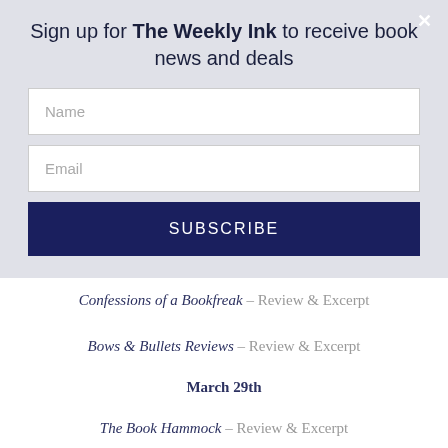Sign up for The Weekly Ink to receive book news and deals
Name
Email
SUBSCRIBE
Confessions of a Bookfreak – Review & Excerpt
Bows & Bullets Reviews – Review & Excerpt
March 29th
The Book Hammock – Review & Excerpt